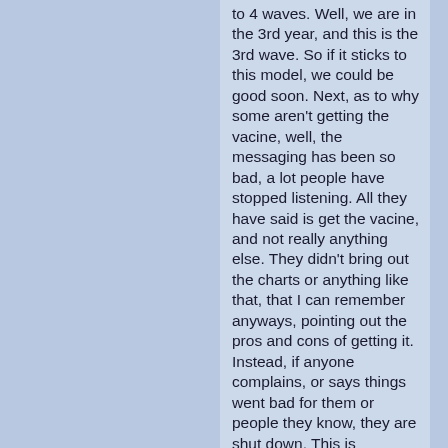to 4 waves. Well, we are in the 3rd year, and this is the 3rd wave. So if it sticks to this model, we could be good soon. Next, as to why some aren't getting the vacine, well, the messaging has been so bad, a lot people have stopped listening. All they have said is get the vacine, and not really anything else. They didn't bring out the charts or anything like that, that I can remember anyways, pointing out the pros and cons of getting it. Instead, if anyone complains, or says things went bad for them or people they know, they are shut down. This is backfiring, and making what most likely a little higher problems they might be having with bad reactions to vactions then normal, getting blown up. There is no prominent page on the CDC web site on treatment on what do if you get this, only to basicly go home and